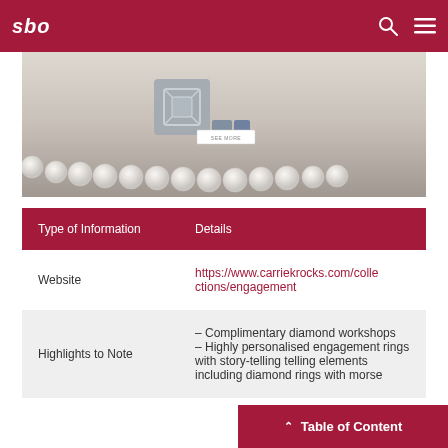sbo
[Figure (photo): Close-up photo of a pearl bracelet with a decorative silver clasp on a white surface, with a 'see more' button overlay]
| Type of Information | Details |
| --- | --- |
| Website | https://www.carriekrocks.com/collections/engagement |
| Highlights to Note | – Complimentary diamond workshops – Highly personalised engagement rings with story-telling telling elements including diamond rings with morse |
Table of Content